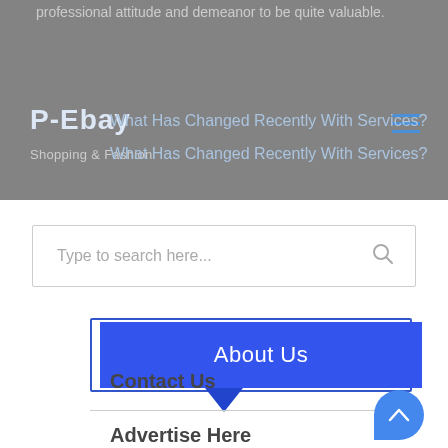professional attitude and demeanor to be quite valuable.
P-Ebay  Shopping & Fashion
What Has Changed Recently With Services?
What Has Changed Recently With Services?
Type to search here...
About Us
Contact Us
Advertise Here